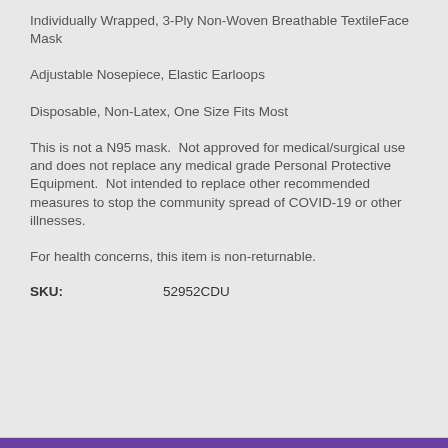Individually Wrapped, 3-Ply Non-Woven Breathable TextileFace Mask
Adjustable Nosepiece, Elastic Earloops
Disposable, Non-Latex, One Size Fits Most
This is not a N95 mask.  Not approved for medical/surgical use and does not replace any medical grade Personal Protective Equipment.  Not intended to replace other recommended measures to stop the community spread of COVID-19 or other illnesses.
For health concerns, this item is non-returnable.
SKU:          52952CDU